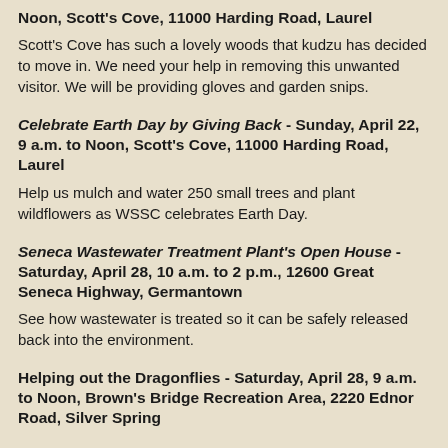Noon, Scott's Cove, 11000 Harding Road, Laurel
Scott's Cove has such a lovely woods that kudzu has decided to move in. We need your help in removing this unwanted visitor. We will be providing gloves and garden snips.
Celebrate Earth Day by Giving Back - Sunday, April 22, 9 a.m. to Noon, Scott's Cove, 11000 Harding Road, Laurel
Help us mulch and water 250 small trees and plant wildflowers as WSSC celebrates Earth Day.
Seneca Wastewater Treatment Plant's Open House - Saturday, April 28, 10 a.m. to 2 p.m., 12600 Great Seneca Highway, Germantown
See how wastewater is treated so it can be safely released back into the environment.
Helping out the Dragonflies - Saturday, April 28, 9 a.m. to Noon, Brown's Bridge Recreation Area, 2220 Ednor Road, Silver Spring